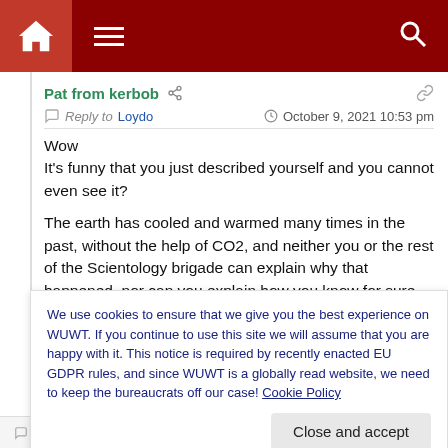Navigation bar with home, menu, and search icons
Pat from kerbob
Reply to Loydo   October 9, 2021 10:53 pm
Wow
It's funny that you just described yourself and you cannot even see it?

The earth has cooled and warmed many times in the past, without the help of CO2, and neither you or the rest of the Scientology brigade can explain why that happened, nor can you explain how you know for sure these same factors aren't
We use cookies to ensure that we give you the best experience on WUWT. If you continue to use this site we will assume that you are happy with it. This notice is required by recently enacted EU GDPR rules, and since WUWT is a globally read website, we need to keep the bureaucrats off our case! Cookie Policy
Close and accept
Reply to Loydo   October 10, 2021 6:55 am